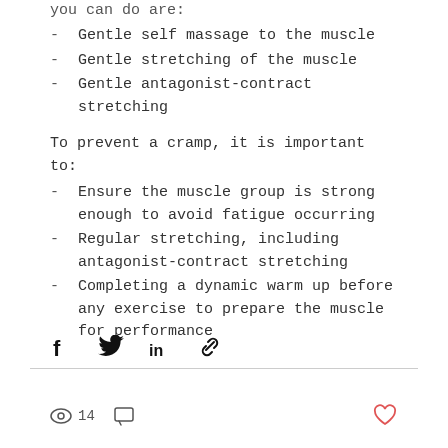you can do are:
Gentle self massage to the muscle
Gentle stretching of the muscle
Gentle antagonist-contract stretching
To prevent a cramp, it is important to:
Ensure the muscle group is strong enough to avoid fatigue occurring
Regular stretching, including antagonist-contract stretching
Completing a dynamic warm up before any exercise to prepare the muscle for performance
[Figure (infographic): Social sharing icons: Facebook, Twitter, LinkedIn, Link]
[Figure (infographic): Footer bar with eye/views icon showing 14 views, comment icon, and heart/like icon]